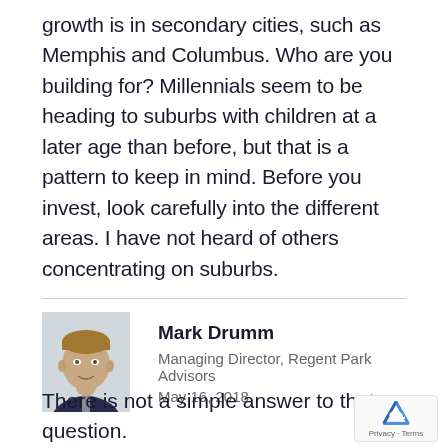growth is in secondary cities, such as Memphis and Columbus. Who are you building for? Millennials seem to be heading to suburbs with children at a later age than before, but that is a pattern to keep in mind. Before you invest, look carefully into the different areas. I have not heard of others concentrating on suburbs.
[Figure (photo): Headshot photo of Mark Drumm, a man in a suit and tie, smiling, against a light background.]
Mark Drumm
Managing Director, Regent Park Advisors
May 16, 2018
There is not a simple answer to that question. different from market to market.